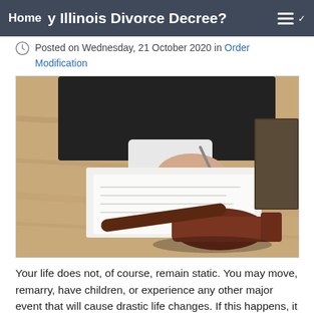When Can I Seek a Modification of My Illinois Divorce Decree?
Posted on Wednesday, 21 October 2020 in Order Modification
[Figure (photo): A judge or lawyer in black robes signing documents on a wooden desk, with a wooden gavel in the foreground]
Your life does not, of course, remain static. You may move, remarry, have children, or experience any other major event that will cause drastic life changes. If this happens, it may be necessary to make a modification to your divorce decree. Below, you may want to consider…